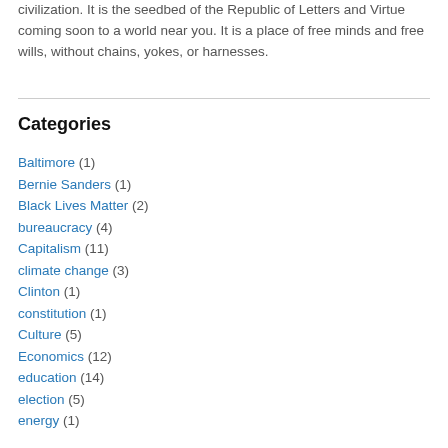civilization. It is the seedbed of the Republic of Letters and Virtue coming soon to a world near you. It is a place of free minds and free wills, without chains, yokes, or harnesses.
Categories
Baltimore (1)
Bernie Sanders (1)
Black Lives Matter (2)
bureaucracy (4)
Capitalism (11)
climate change (3)
Clinton (1)
constitution (1)
Culture (5)
Economics (12)
education (14)
election (5)
energy (1)